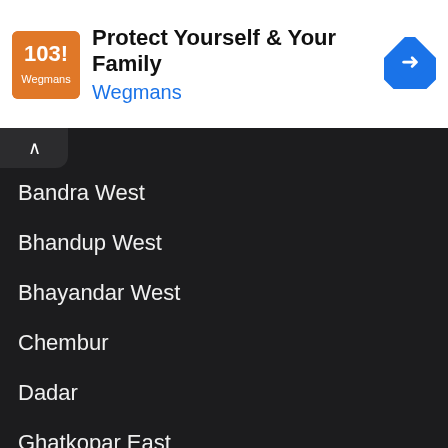[Figure (screenshot): Advertisement banner for Wegmans with logo, text 'Protect Yourself & Your Family', brand name 'Wegmans' in blue, and a blue navigation arrow icon on the right.]
Bandra West
Bhandup West
Bhayandar West
Chembur
Dadar
Ghatkopar East
Ghatkopar West
Goregaon East
Haji Ali
Juhu
Kalyan